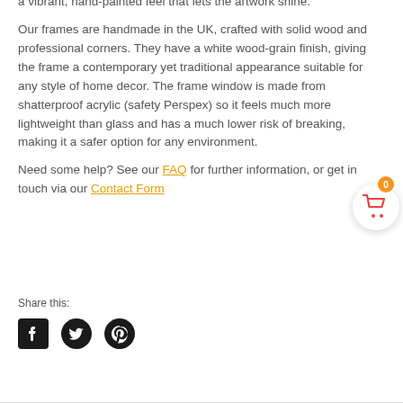a vibrant, hand-painted feel that lets the artwork shine.
Our frames are handmade in the UK, crafted with solid wood and professional corners. They have a white wood-grain finish, giving the frame a contemporary yet traditional appearance suitable for any style of home decor. The frame window is made from shatterproof acrylic (safety Perspex) so it feels much more lightweight than glass and has a much lower risk of breaking, making it a safer option for any environment.
Need some help? See our FAQ for further information, or get in touch via our Contact Form
Share this:
[Figure (illustration): Social share icons: Facebook, Twitter, Pinterest]